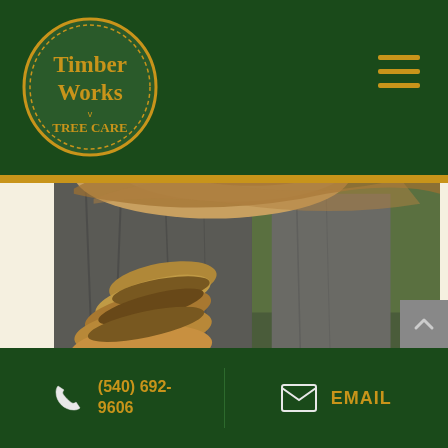[Figure (logo): Timber Works Tree Care logo — oval badge shape with yellow text on dark green background]
[Figure (photo): Close-up photograph of a large tree trunk with bracket/shelf fungus (conk mushrooms) growing on it, greenery in background]
(540) 692-9606
EMAIL